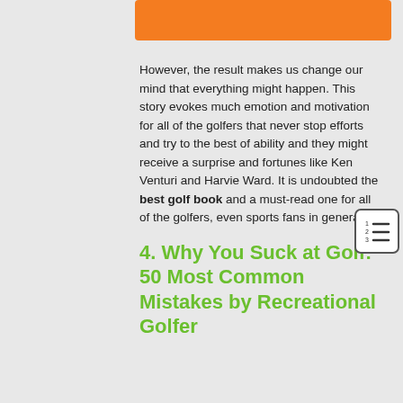[Figure (other): Orange rectangular banner/header bar]
However, the result makes us change our mind that everything might happen. This story evokes much emotion and motivation for all of the golfers that never stop efforts and try to the best of ability and they might receive a surprise and fortunes like Ken Venturi and Harvie Ward. It is undoubted the best golf book and a must-read one for all of the golfers, even sports fans in general.
4. Why You Suck at Golf: 50 Most Common Mistakes by Recreational Golfer
[Figure (other): Table of contents icon with numbered list lines]